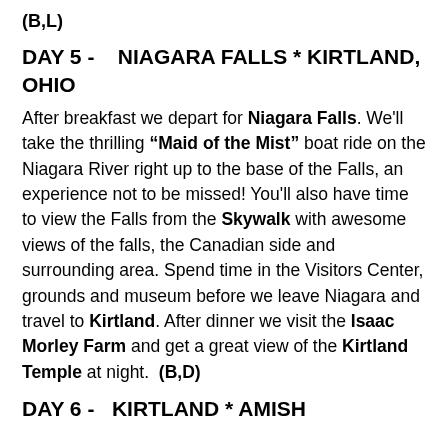(B,L)
DAY 5 -    NIAGARA FALLS * KIRTLAND, OHIO
After breakfast we depart for Niagara Falls. We'll take the thrilling "Maid of the Mist" boat ride on the Niagara River right up to the base of the Falls, an experience not to be missed! You'll also have time to view the Falls from the Skywalk with awesome views of the falls, the Canadian side and surrounding area. Spend time in the Visitors Center, grounds and museum before we leave Niagara and travel to Kirtland. After dinner we visit the Isaac Morley Farm and get a great view of the Kirtland Temple at night.  (B,D)
DAY 6 -   KIRTLAND * AMISH